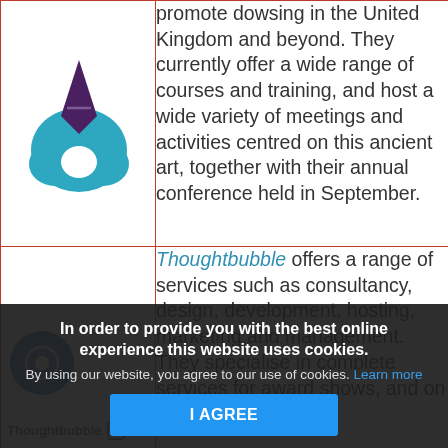[Figure (logo): Dowsing organization logo: teal teardrop/water droplet shape with a dark purple diamond/arrow at top center]
promote dowsing in the United Kingdom and beyond. They currently offer a wide range of courses and training, and host a wide variety of meetings and activities centred on this ancient art, together with their annual conference held in September.
[Figure (logo): Thoughtbubble logo: circular icon with gear/thought bubble design and company name Thoughtbubble]
Thoughtbubble offers a range of services such as consultancy, design, development, hosting, marketing and management. They specialise in complete services for award shows, and on site Wi-Fi judging.
In order to provide you with the best online experience this website uses cookies. By using our website, you agree to our use of cookies. Learn more